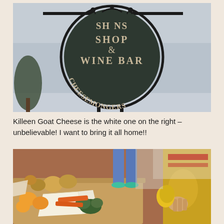[Figure (photo): Circular hanging shop sign reading 'SH...NS SHOP & WINE BAR CHEESEMONGERS' against a grey sky, with decorative ironwork]
Killeen Goat Cheese is the white one on the right – unbelievable!  I want to bring it all home!!
[Figure (photo): Close-up of a cheese and food display board with various cheeses, vegetables, fruits and garnishes; a person in a yellow jacket is visible on the right]